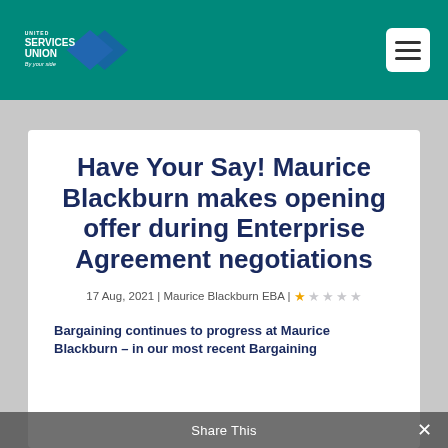[Figure (logo): United Services Union logo with diamond arrow shape and tagline 'By your side']
Have Your Say! Maurice Blackburn makes opening offer during Enterprise Agreement negotiations
17 Aug, 2021 | Maurice Blackburn EBA | ★☆☆☆☆
Bargaining continues to progress at Maurice Blackburn – in our most recent Bargaining
Share This